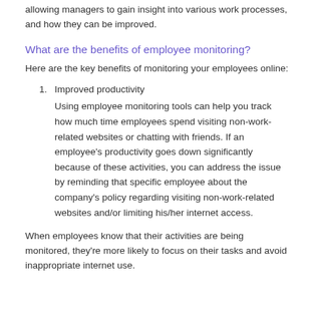allowing managers to gain insight into various work processes, and how they can be improved.
What are the benefits of employee monitoring?
Here are the key benefits of monitoring your employees online:
Improved productivity
Using employee monitoring tools can help you track how much time employees spend visiting non-work-related websites or chatting with friends. If an employee's productivity goes down significantly because of these activities, you can address the issue by reminding that specific employee about the company's policy regarding visiting non-work-related websites and/or limiting his/her internet access.
When employees know that their activities are being monitored, they're more likely to focus on their tasks and avoid inappropriate internet use.